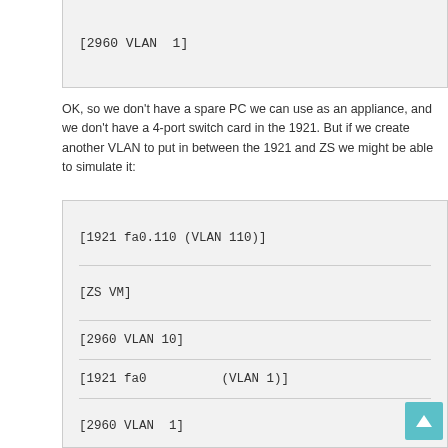[2960 VLAN  1]
OK, so we don't have a spare PC we can use as an appliance, and we don't have a 4-port switch card in the 1921. But if we create another VLAN to put in between the 1921 and ZS we might be able to simulate it:
[Figure (schematic): Network diagram showing VLAN configuration with labels: [1921 fa0.110 (VLAN 110)], [ZS VM], [2960 VLAN 10], [1921 fa0 (VLAN 1)], [2960 VLAN 1]]